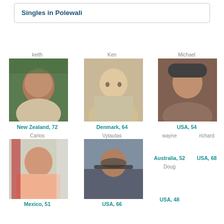Singles in Polewali
keith
[Figure (photo): Profile photo of keith, middle-aged man outdoors with trees]
New Zealand, 72
Ken
[Figure (photo): Profile photo of Ken, man with glasses wearing light jacket]
Denmark, 64
Michael
[Figure (photo): Profile photo of Michael, man wearing dark cap]
USA, 54
Carlos
[Figure (photo): Profile photo of Carlos, man in pink shirt sitting]
Mexico, 51
Vytautas
[Figure (photo): Profile photo of Vytautas, bald man with sunglasses outdoors]
USA, 66
wayne
Australia, 52
Doug
USA, 48
richard
USA, 68